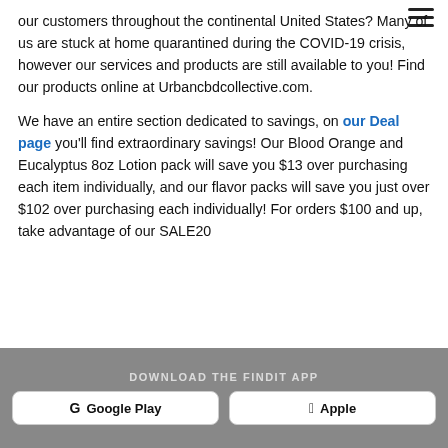our customers throughout the continental United States? Many of us are stuck at home quarantined during the COVID-19 crisis, however our services and products are still available to you! Find our products online at Urbancbdcollective.com.
We have an entire section dedicated to savings, on our Deal page you'll find extraordinary savings! Our Blood Orange and Eucalyptus 8oz Lotion pack will save you $13 over purchasing each item individually, and our flavor packs will save you just over $102 over purchasing each individually! For orders $100 and up, take advantage of our SALE20
DOWNLOAD THE FINDIT APP
Google Play
Apple